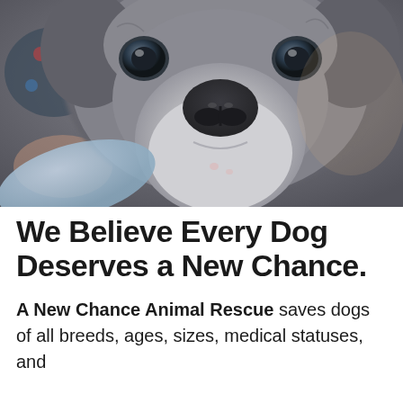[Figure (photo): Close-up photograph of a gray/blue French Bulldog or Boston Terrier looking directly at the camera from above. The dog has a flat face, large dark eyes, and a prominent black nose. A light blue object (possibly a toy or cushion) is visible near the dog's chin. The background shows colorful fabric.]
We Believe Every Dog Deserves a New Chance.
A New Chance Animal Rescue saves dogs of all breeds, ages, sizes, medical statuses, and